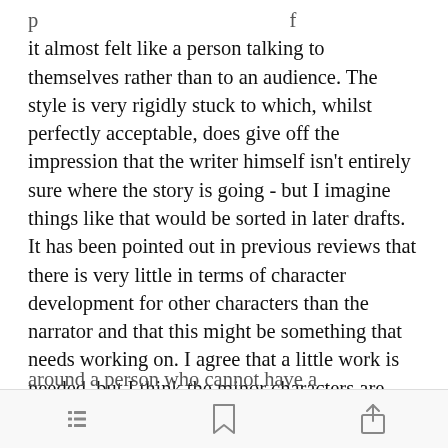it almost felt like a person talking to themselves rather than to an audience. The style is very rigidly stuck to which, whilst perfectly acceptable, does give off the impression that the writer himself isn't entirely sure where the story is going - but I imagine things like that would be sorted in later drafts. It has been pointed out in previous reviews that there is very little in terms of character development for other characters than the narrator and that this might be something that needs working on. I agree that a little work is needed, but I think the minor characters are pitched just right given t[Open in app]ry is centred around a person who cannot have a
[menu icon] [bookmark icon] [share icon]